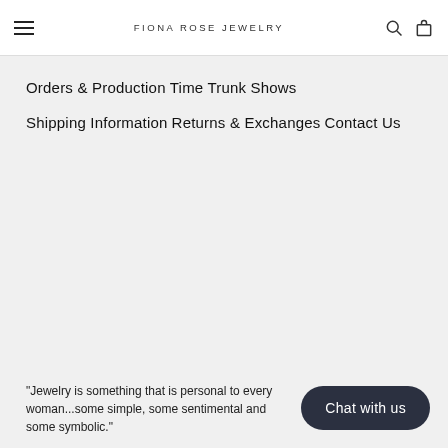FIONA ROSE JEWELRY
Orders & Production Time
Trunk Shows
Shipping Information
Returns & Exchanges
Contact Us
"Jewelry is something that is personal to every woman...some simple, some sentimental and some symbolic."
29 E. Madison Ave. Suite 1416
Chicago, IL 60602
Chat with us